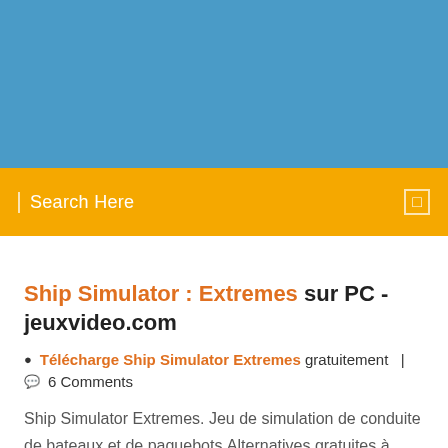[Figure (other): Blue banner header area]
Search Here
Ship Simulator : Extremes sur PC - jeuxvideo.com
Télécharge Ship Simulator Extremes gratuitement | 6 Comments
Ship Simulator Extremes. Jeu de simulation de conduite de bateaux et de paquebots.Alternatives gratuites à Ship Simulator Extremes. Counter Strike Ultimate. Un logiciel avec licence